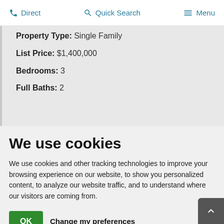Direct  Quick Search  Menu
Property Type: Single Family
List Price: $1,400,000
Bedrooms: 3
Full Baths: 2
We use cookies
We use cookies and other tracking technologies to improve your browsing experience on our website, to show you personalized content, to analyze our website traffic, and to understand where our visitors are coming from.
OK   Change my preferences